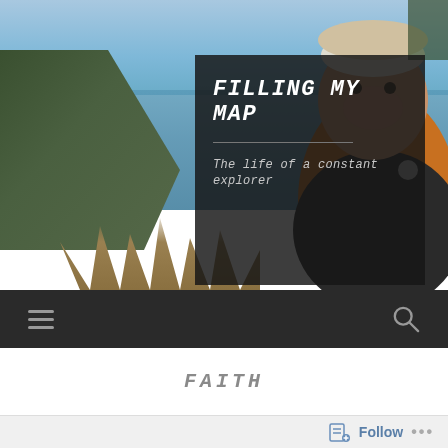[Figure (photo): Blog header photo showing a lake or river scene with trees on the left, water in the middle, reeds in the foreground, and a smiling person wearing an orange jacket and white headband on the right side. A dark semi-transparent overlay box contains the blog title and tagline.]
FILLING MY MAP
The life of a constant explorer
FAITH
Follow ...